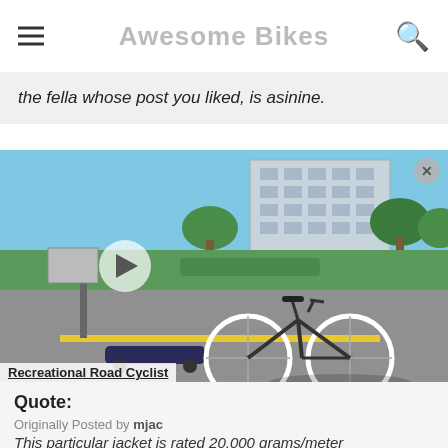Awesome Bikes
the fella whose post you liked, is asinine.
[Figure (photo): A bicycle with white wheels on a road, next to a skateboard, in front of a modern building with trees. There is a play button overlay indicating a video thumbnail. Caption reads 'Recreational Road Cyclist'.]
Recreational Road Cyclist
Quote:
Originally Posted by mjac
This particular jacket is rated 20,000 grams/meter